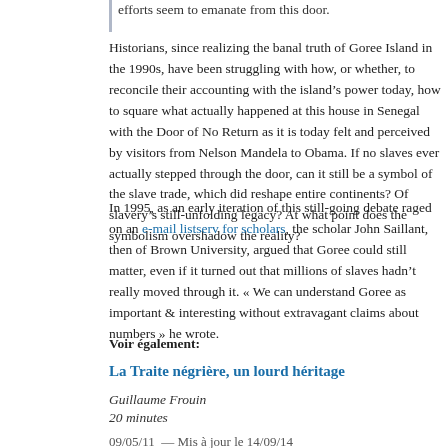efforts seem to emanate from this door.
Historians, since realizing the banal truth of Goree Island in the 1990s, have been struggling with how, or whether, to reconcile their accounting with the island’s power today, how to square what actually happened at this house in Senegal with the Door of No Return as it is today felt and perceived by visitors from Nelson Mandela to Obama. If no slaves ever actually stepped through the door, can it still be a symbol of the slave trade, which did reshape entire continents? Of slavery’s still-unfolding legacy? At what point does the symbolism overshadow the reality?
In 1995, as an early iteration of this still-going debate raged on an e-mail listserv for scholars, the scholar John Saillant, then of Brown University, argued that Goree could still matter, even if it turned out that millions of slaves hadn’t really moved through it. « We can understand Goree as important & interesting without extravagant claims about numbers » he wrote.
Voir également:
La Traite négrière, un lourd héritage
Guillaume Frouin
20 minutes
09/05/11  — Mis à jour le 14/09/14
Demain, la Journée nationale de commémoration de l’abolition de l’esclavage ne se toujours pas célébrée de façon unitaire à Nantes. Une trentaine de comédiens enchaînés en haillons ont en effet pris part, dès hier, à une « Marche des esclaves » dans les rues de la ville, qui a fait sa fortune au XVIIIe siècle sur le « commerce triangulaire ». Ils étai…